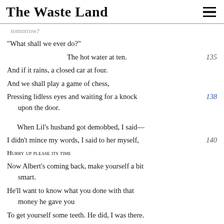The Waste Land
tomorrow?
“What shall we ever do?”
The hot water at ten.    135
And if it rains, a closed car at four.
And we shall play a game of chess,
Pressing lidless eyes and waiting for a knock upon the door.    138
When Lil’s husband got demobbed, I said—
I didn’t mince my words, I said to her myself,    140
HURRY UP PLEASE ITS TIME
Now Albert’s coming back, make yourself a bit smart.
He’ll want to know what you done with that money he gave you
To get yourself some teeth. He did, I was there.
You have them all out, Lil, and get a nice set,    145
He said, I swear, I can’t bear to look at you.